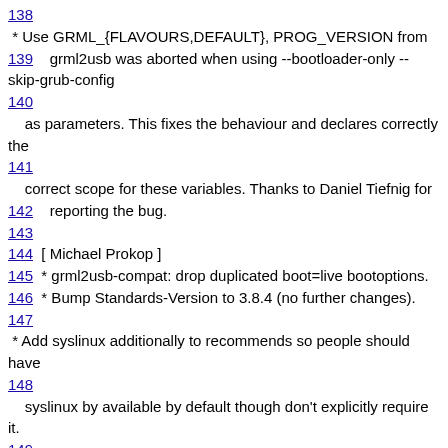138
 * Use GRML_{FLAVOURS,DEFAULT}, PROG_VERSION from
139    grml2usb was aborted when using --bootloader-only --skip-grub-config
140
    as parameters. This fixes the behaviour and declares correctly the
141
    correct scope for these variables. Thanks to Daniel Tiefnig for
142    reporting the bug.
143
144  [ Michael Prokop ]
145  * grml2usb-compat: drop duplicated boot=live bootoptions.
146  * Bump Standards-Version to 3.8.4 (no further changes).
147
 * Add syslinux additionally to recommends so people should have
148
    syslinux by available by default though don't explicitly require it.
149
150 -
- Michael Prokop <mika@grml.org>  Sun, 21 Feb 2010 16:52:23 +0
151
152 grml2usb (0.9.21) unstable; urgency=low
153
154  [ Michael Prokop ]
155  * Document the Boot error issue regarding USB-ZIP.
156